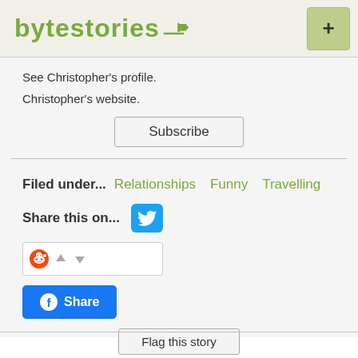bytestories + (logo with pencil icon and plus button)
See Christopher's profile.
Christopher's website.
Subscribe
Filed under...   Relationships   Funny   Travelling
Share this on... [Twitter icon]
[Figure (other): Reddit widget with upvote/downvote arrows]
Share [Facebook Share button]
Flag this story